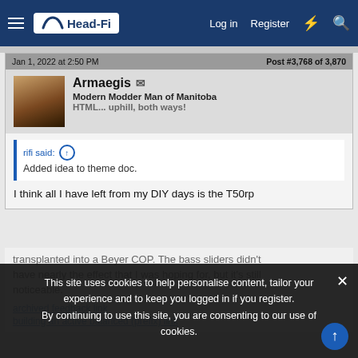Head-Fi — Log in  Register
Jan 1, 2022 at 2:50 PM    Post #3,768 of 3,870
Armaegis
Modern Modder Man of Manitoba
HTML... uphill, both ways!
rifi said:
Added idea to theme doc.
I think all I have left from my DIY days is the T50rp transplanted into a Beyer COP. The bass sliders didn't have nearly the effect that I was hoping for, but it's still noticeable.
archived feedback link
building an active balanced (prefix) link
This site uses cookies to help personalise content, tailor your experience and to keep you logged in if you register.
By continuing to use this site, you are consenting to our use of cookies.